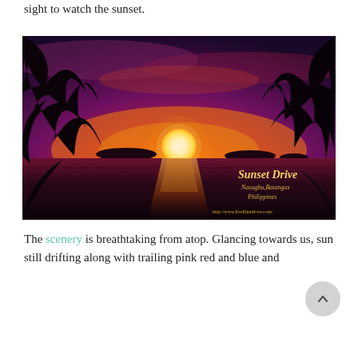sight to watch the sunset.
[Figure (photo): A dramatic sunset over the sea at Sunset Drive, Nasugbu, Batangas, Philippines. Palm fronds frame the upper corners. The sun is a bright white disc near the horizon, surrounded by vivid orange and red sky. The water reflects the sunlight. Text overlay reads 'Sunset Drive / Nasugbu, Batangas / Philippines' and 'http://www.livelifendlove.com/']
The scenery is breathtaking from atop. Glancing towards us, sun still drifting along with trailing pink red and blue and